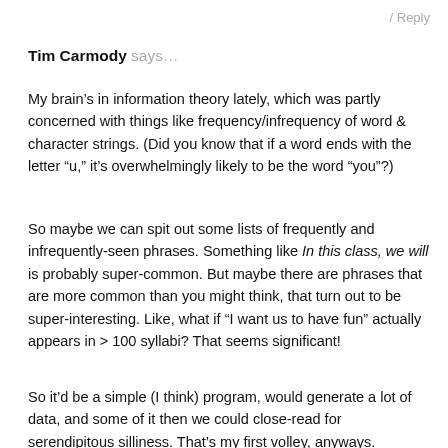/ Reply
Tim Carmody says...
My brain’s in information theory lately, which was partly concerned with things like frequency/infrequency of word & character strings. (Did you know that if a word ends with the letter “u,” it’s overwhelmingly likely to be the word “you”?)
So maybe we can spit out some lists of frequently and infrequently-seen phrases. Something like In this class, we will is probably super-common. But maybe there are phrases that are more common than you might think, that turn out to be super-interesting. Like, what if “I want us to have fun” actually appears in > 100 syllabi? That seems significant!
So it’d be a simple (I think) program, would generate a lot of data, and some of it then we could close-read for serendipitous silliness. That’s my first volley, anyways.